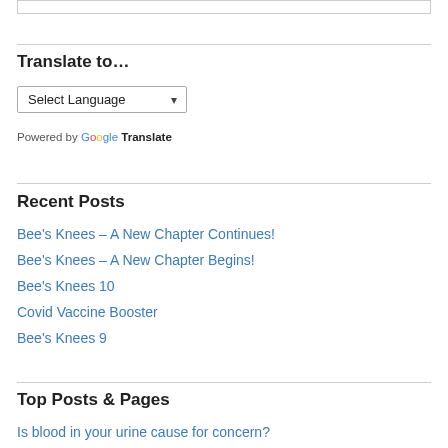Translate to…
Select Language (dropdown)
Powered by Google Translate
Recent Posts
Bee's Knees – A New Chapter Continues!
Bee's Knees – A New Chapter Begins!
Bee's Knees 10
Covid Vaccine Booster
Bee's Knees 9
Top Posts & Pages
Is blood in your urine cause for concern?